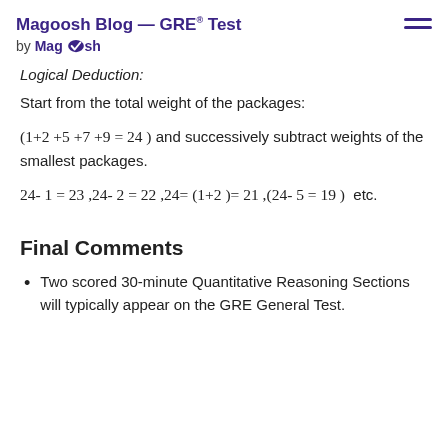Magoosh Blog — GRE® Test by Magoosh
Logical Deduction:
Start from the total weight of the packages:
Final Comments
Two scored 30-minute Quantitative Reasoning Sections will typically appear on the GRE General Test.